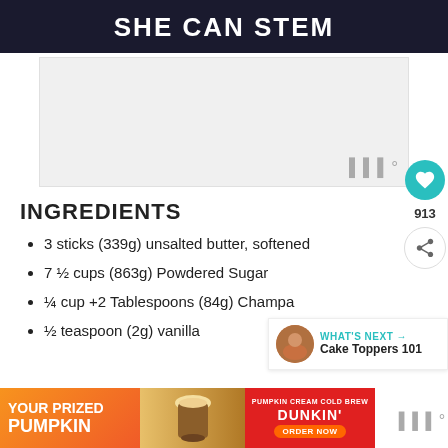SHE CAN STEM
[Figure (other): Advertisement placeholder area with watermark icon in bottom right]
INGREDIENTS
3 sticks (339g) unsalted butter, softened
7 ½ cups (863g) Powdered Sugar
¼ cup +2 Tablespoons (84g) Champa…
½ teaspoon (2g) vanilla
[Figure (other): What's Next panel with thumbnail image linking to Cake Toppers 101]
[Figure (other): Bottom advertisement banner for Dunkin Pumpkin Cream Cold Brew — YOUR PRIZED PUMPKIN, ORDER NOW]